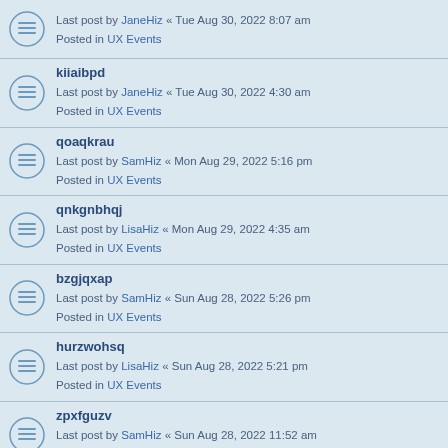Last post by JaneHiz « Tue Aug 30, 2022 8:07 am
Posted in UX Events
kiiaibpd
Last post by JaneHiz « Tue Aug 30, 2022 4:30 am
Posted in UX Events
qoaqkrau
Last post by SamHiz « Mon Aug 29, 2022 5:16 pm
Posted in UX Events
qnkgnbhqj
Last post by LisaHiz « Mon Aug 29, 2022 4:35 am
Posted in UX Events
bzgjqxap
Last post by SamHiz « Sun Aug 28, 2022 5:26 pm
Posted in UX Events
hurzwohsq
Last post by LisaHiz « Sun Aug 28, 2022 5:21 pm
Posted in UX Events
zpxfguzv
Last post by SamHiz « Sun Aug 28, 2022 11:52 am
Posted in UX Events
qzlyjhrk
Last post by AnnaHiz « Sun Aug 28, 2022 10:36 am
Posted in UX Events
jxfzdnau
Last post by JaneHiz « Sat Aug 27, 2022 10:55 pm
Posted in UX Events